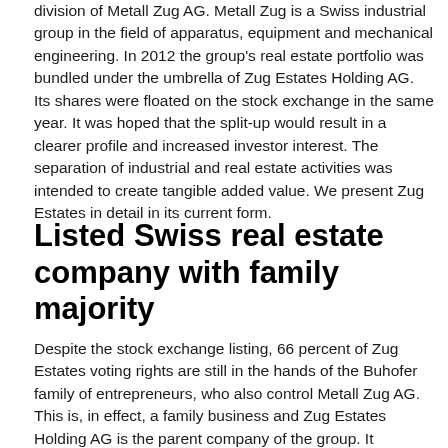division of Metall Zug AG. Metall Zug is a Swiss industrial group in the field of apparatus, equipment and mechanical engineering. In 2012 the group's real estate portfolio was bundled under the umbrella of Zug Estates Holding AG. Its shares were floated on the stock exchange in the same year. It was hoped that the split-up would result in a clearer profile and increased investor interest. The separation of industrial and real estate activities was intended to create tangible added value. We present Zug Estates in detail in its current form.
Listed Swiss real estate company with family majority
Despite the stock exchange listing, 66 percent of Zug Estates voting rights are still in the hands of the Buhofer family of entrepreneurs, who also control Metall Zug AG. This is, in effect, a family business and Zug Estates Holding AG is the parent company of the group. It includes the two wholly owned